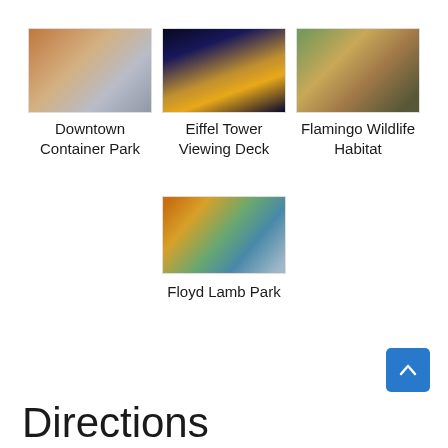[Figure (photo): Photo of Downtown Container Park – indoor/outdoor signage area with warm reddish-brown tones]
Downtown Container Park
[Figure (photo): Photo of Eiffel Tower Viewing Deck – night scene of Las Vegas Strip with illuminated Eiffel Tower replica and casino buildings]
Eiffel Tower Viewing Deck
[Figure (photo): Photo of Flamingo Wildlife Habitat – outdoor area with rocks, greenery and flamingos]
Flamingo Wildlife Habitat
[Figure (photo): Photo of Floyd Lamb Park – autumn scene with trees, water, and colorful foliage]
Floyd Lamb Park
Directions